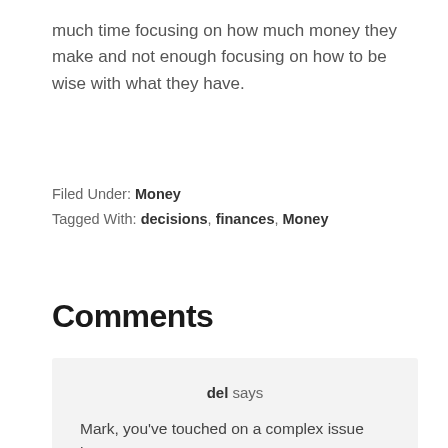much time focusing on how much money they make and not enough focusing on how to be wise with what they have.
Filed Under: Money
Tagged With: decisions, finances, Money
Comments
del says
April 2, 2009 at 12:41 pm
Mark, you've touched on a complex issue here, one intertwined with societal attitudes towards